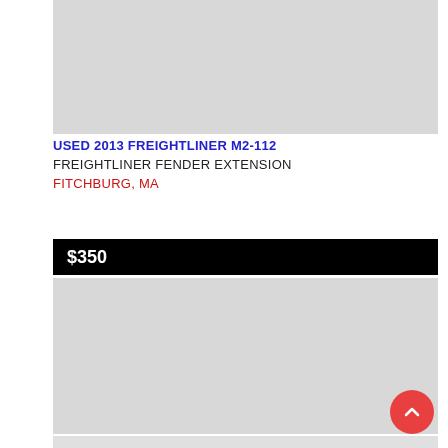[Figure (photo): Gray placeholder image for a used 2013 Freightliner M2-112 fender extension product listing]
USED 2013 FREIGHTLINER M2-112
FREIGHTLINER FENDER EXTENSION
FITCHBURG, MA
$350
[Figure (photo): Gray placeholder image for a second view of the product listing]